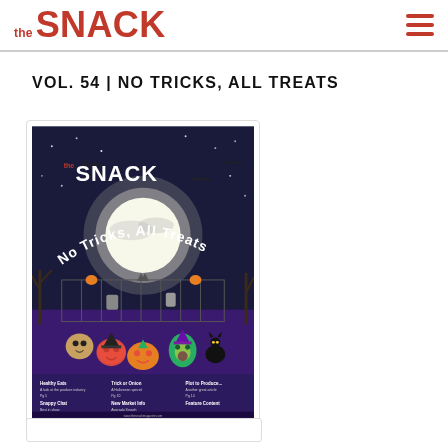the SNACK
VOL. 54 | NO TRICKS, ALL TREATS
[Figure (illustration): Magazine cover of 'the SNACK' Vol. 54 with Halloween theme titled 'No Tricks, All Treats'. Dark night scene with moon, graveyard, iron fence, bats, and cartoon vegetable/fruit characters in Halloween costumes in the foreground. Purple and dark blue color scheme. Table of contents text visible at the bottom.]